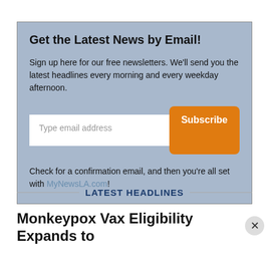Get the Latest News by Email!
Sign up here for our free newsletters. We'll send you the latest headlines every morning and every weekday afternoon.
Check for a confirmation email, and then you're all set with MyNewsLA.com!
LATEST HEADLINES
Monkeypox Vax Eligibility Expands to